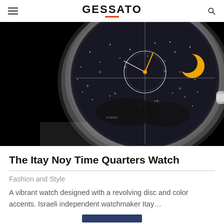GESSATO
[Figure (photo): Close-up photograph of a luxury watch with a black starfield dial featuring white dots, a circular sub-dial with yellow hand, a yellow crescent disc, silver case with crown, and dark leather strap on black background.]
The Itay Noy Time Quarters Watch
Fashion and Style
A vibrant watch designed with a revolving disc and color accents. Israeli independent watchmaker Itay...